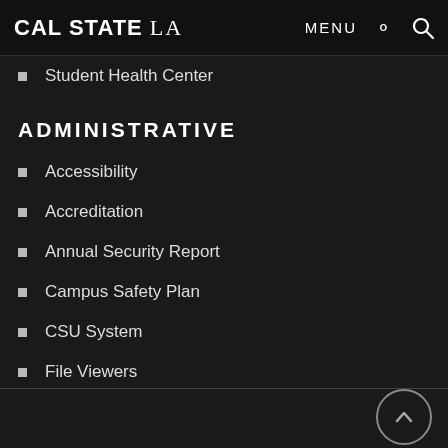CAL STATE LA  MENU
Student Health Center
ADMINISTRATIVE
Accessibility
Accreditation
Annual Security Report
Campus Safety Plan
CSU System
File Viewers
Privacy
Back to top